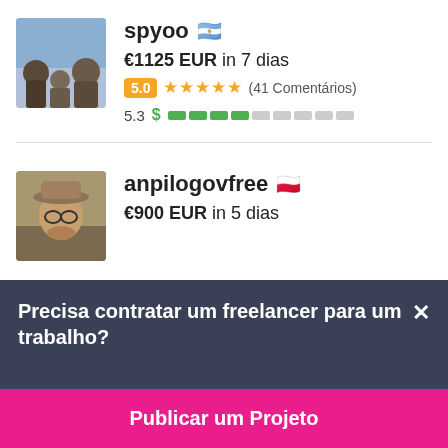[Figure (photo): Profile photo of user spyoo - group photo with people]
spyoo 🇦🇷
€1125 EUR in 7 dias
5.0 ★★★★★ (41 Comentários)
5.3 $ ▓▓▓▓▒▒▒▒▒▒
[Figure (photo): Profile photo of user anpilogovfree - man with hat]
anpilogovfree 🇵🇱
€900 EUR in 5 dias
Precisa contratar um freelancer para um trabalho?
Publicar um Projeto